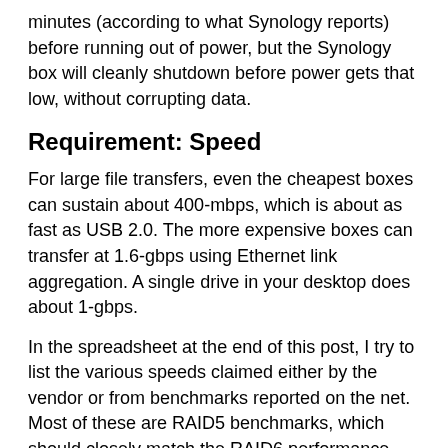minutes (according to what Synology reports) before running out of power, but the Synology box will cleanly shutdown before power gets that low, without corrupting data.
Requirement: Speed
For large file transfers, even the cheapest boxes can sustain about 400-mbps, which is about as fast as USB 2.0. The more expensive boxes can transfer at 1.6-gbps using Ethernet link aggregation. A single drive in your desktop does about 1-gbps.
In the spreadsheet at the end of this post, I try to list the various speeds claimed either by the vendor or from benchmarks reported on the net. Most of these are RAID5 benchmarks, which should closely match the RAID6 performance.
For me, getting “link aggregation” to work was important. My desktop, the switch, and the NAS all support “IEEE 802.3ad LACP”. Note that some devices support other variants, like “trunking”, that may not be capable of this. Also, I had to